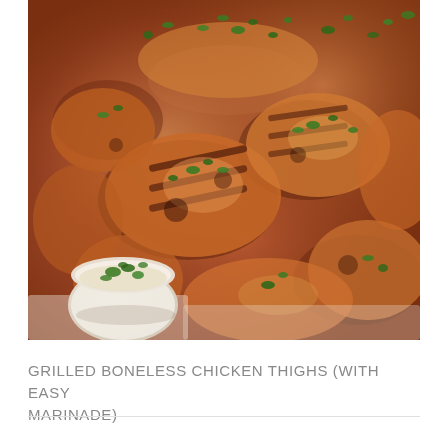[Figure (photo): Close-up overhead photo of grilled boneless chicken thighs with grill marks, topped with fresh chopped cilantro/herbs, arranged on parchment paper. A small white bowl with herb sauce/dip is visible in the bottom left corner.]
GRILLED BONELESS CHICKEN THIGHS (WITH EASY MARINADE)